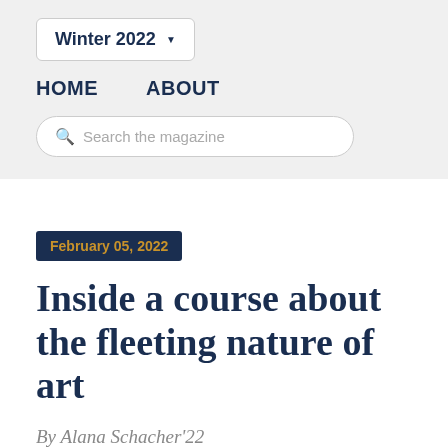Winter 2022
HOME   ABOUT
Search the magazine
February 05, 2022
Inside a course about the fleeting nature of art
By Alana Schacher'22